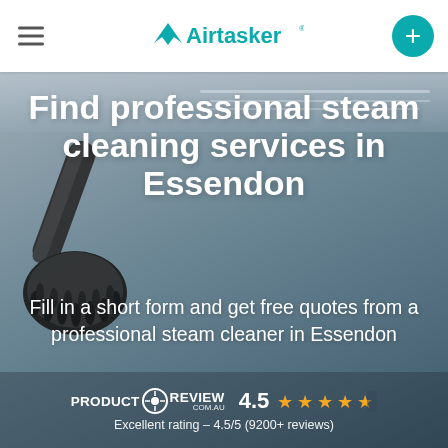Airtasker navigation header
Find professional steam cleaning services in Essendon
Fill in a short form and get free quotes from a professional steam cleaner in Essendon
PRODUCT REVIEW COM.AU  4.5  Excellent rating – 4.5/5 (9200+ reviews)